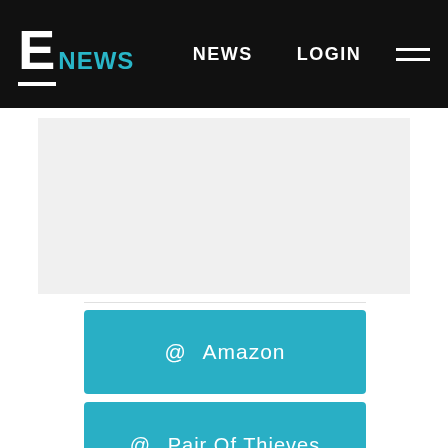E NEWS   NEWS   LOGIN
[Figure (other): Light gray placeholder/ad box]
@ Amazon
@ Pair Of Thieves
Hanes